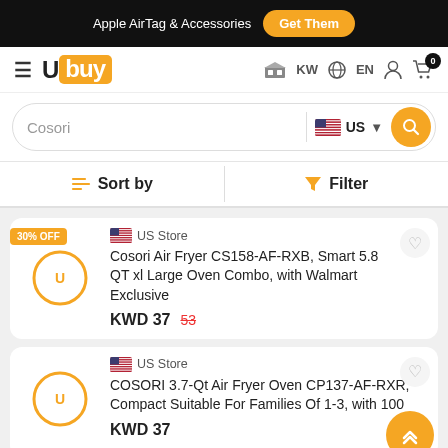Apple AirTag & Accessories   Get Them
[Figure (logo): Ubuy logo with orange background box]
KW  EN  user icon  cart 0
Cosori  US  search button
Sort by   Filter
30% OFF
US Store
Cosori Air Fryer CS158-AF-RXB, Smart 5.8 QT xl Large Oven Combo, with Walmart Exclusive
KWD 37  53
US Store
COSORI 3.7-Qt Air Fryer Oven CP137-AF-RXR, Compact Suitable For Families Of 1-3, with 100
KWD 37